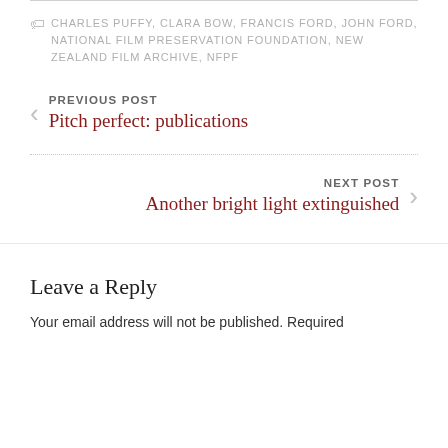CHARLES PUFFY, CLARA BOW, FRANCIS FORD, JOHN FORD, NATIONAL FILM PRESERVATION FOUNDATION, NEW ZEALAND FILM ARCHIVE, NFPF
PREVIOUS POST
Pitch perfect: publications
NEXT POST
Another bright light extinguished
Leave a Reply
Your email address will not be published. Required